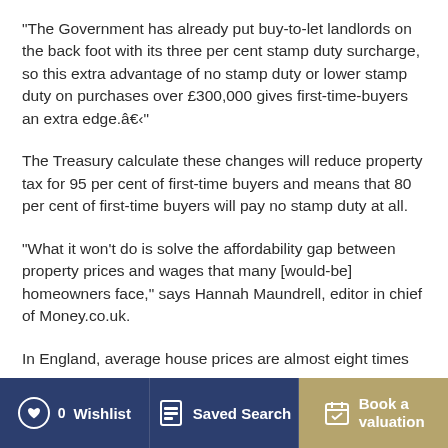"The Government has already put buy-to-let landlords on the back foot with its three per cent stamp duty surcharge, so this extra advantage of no stamp duty or lower stamp duty on purchases over £300,000 gives first-time-buyers an extra edge.â€‹"
The Treasury calculate these changes will reduce property tax for 95 per cent of first-time buyers and means that 80 per cent of first-time buyers will pay no stamp duty at all.
"What it won't do is solve the affordability gap between property prices and wages that many [would-be] homeowners face," says Hannah Maundrell, editor in chief of Money.co.uk.
In England, average house prices are almost eight times
Wishlist   Saved Search   Book a valuation